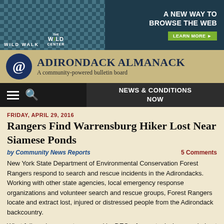[Figure (screenshot): Advertisement banner: Wild Walk / The Wild Center with tagline 'A New Way to Browse the Web' and 'Learn More' button]
ADIRONDACK ALMANACK
A community-powered bulletin board
[Figure (screenshot): Navigation bar with hamburger menu, search icon, and 'NEWS & CONDITIONS NOW' link]
FRIDAY, APRIL 29, 2016
Rangers Find Warrensburg Hiker Lost Near Siamese Ponds
by Community News Reports	5 Comments
New York State Department of Environmental Conservation Forest Rangers respond to search and rescue incidents in the Adirondacks. Working with other state agencies, local emergency response organizations and volunteer search and rescue groups, Forest Rangers locate and extract lost, injured or distressed people from the Adirondack backcountry.
What follows is a report, prepared by DEC, of recent missions carried out by Forest Rangers in the Adirondacks.
Hamilton County